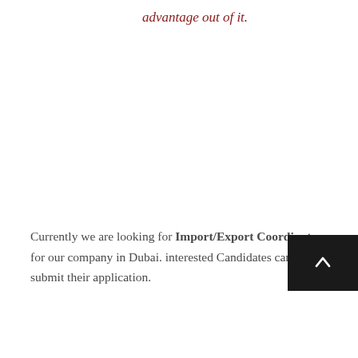advantage out of it.
Currently we are looking for Import/Export Coordinator for our company in Dubai. interested Candidates can submit their application.